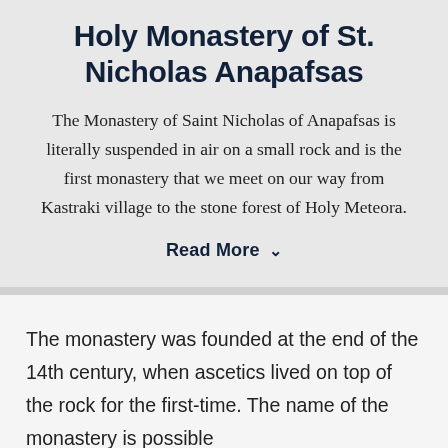Holy Monastery of St. Nicholas Anapafsas
The Monastery of Saint Nicholas of Anapafsas is literally suspended in air on a small rock and is the first monastery that we meet on our way from Kastraki village to the stone forest of Holy Meteora.
Read More ∨
The monastery was founded at the end of the 14th century, when ascetics lived on top of the rock for the first-time. The name of the monastery is possible